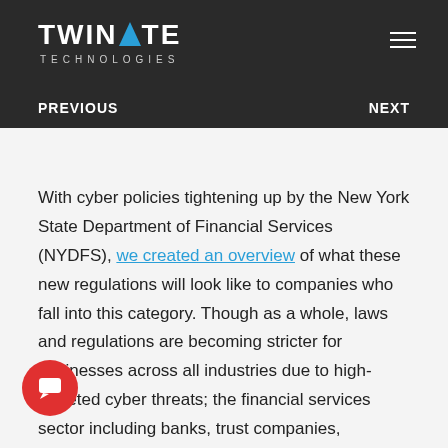[Figure (logo): Twinstate Technologies logo with white text and blue triangle on dark background]
PREVIOUS    NEXT
With cyber policies tightening up by the New York State Department of Financial Services (NYDFS), we created an overview of what these new regulations will look like to companies who fall into this category. Though as a whole, laws and regulations are becoming stricter for businesses across all industries due to high-targeted cyber threats; the financial services sector including banks, trust companies,